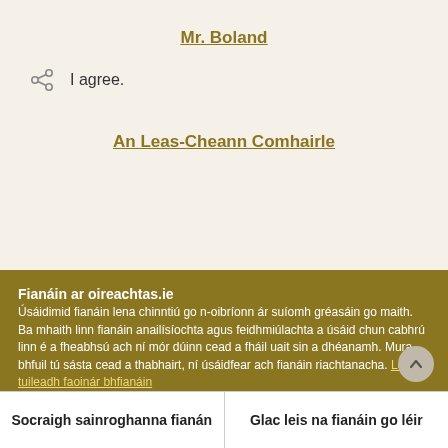Mr. Boland
I agree.
An Leas-Cheann Comhairle
Fianáin ar oireachtas.ie
Úsáidimid fianáin lena chinntiú go n-oibríonn ár suíomh gréasáin go maith. Ba mhaith linn fianáin anailísíochta agus feidhmiúlachta a úsáid chun cabhrú linn é a fheabhsú ach ní mór dúinn cead a fháil uait sin a dhéanamh. Mura bhfuil tú sásta cead a thabhairt, ní úsáidfear ach fianáin riachtanacha. Léigh tuileadh faoinár bhfianáin
Socraigh sainroghanna fianán
Glac leis na fianáin go léir